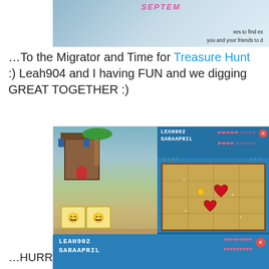[Figure (screenshot): Partial screenshot of a Club Penguin-style game page showing a September themed image with text about finding extras with friends]
…To the Migrator and Time for Treasure Hunt  :) Leah904 and I having FUN and we digging GREAT TOGETHER :)
[Figure (screenshot): Screenshot of Club Penguin Treasure Hunt minigame showing game scene on left and game board grid on right with players LEAH902 and SARAAPRIL, red gems on the board, and score showing Gems: 2, Coins: 1, Total: 51]
…HURRAY! We found the EMERALD! and gets 100 Bonus Coins!
[Figure (screenshot): Partial screenshot of Club Penguin Treasure Hunt results screen showing players LEAH902 and SARAAPRIL with gem icons]